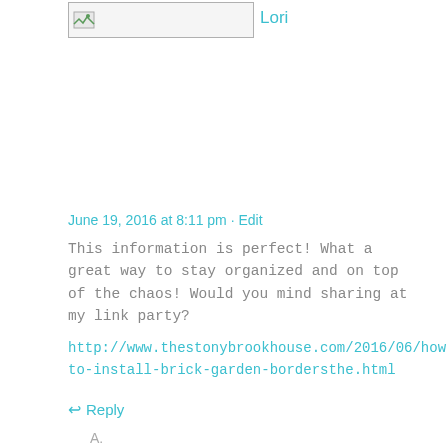[Figure (photo): Avatar placeholder image with broken image icon and text input field]
Lori
June 19, 2016 at 8:11 pm · Edit
This information is perfect! What a great way to stay organized and on top of the chaos! Would you mind sharing at my link party?
http://www.thestonybrookhouse.com/2016/06/how-to-install-brick-garden-bordersthe.html
↩ Reply
A.
[Figure (photo): Profile photo of a woman with long dark hair smiling, outdoors with trees in background]